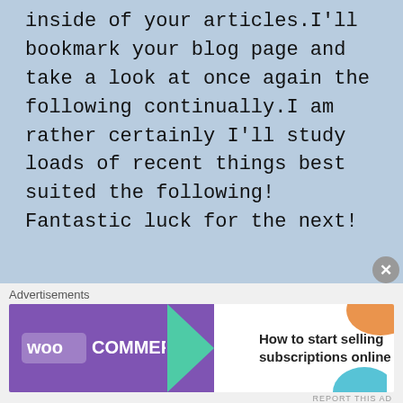inside of your articles.I'll bookmark your blog page and take a look at once again the following continually.I am rather certainly I'll study loads of recent things best suited the following! Fantastic luck for the next!
★ Like
Eric
30/12/2012   Reply
[Figure (photo): Avatar photo of user Eric — a man with glasses and a bald head, smiling]
Thanks a lot.
Advertisements
[Figure (screenshot): WooCommerce advertisement banner: purple left panel with WooCommerce logo and teal arrow, white right panel with text 'How to start selling subscriptions online', orange and teal decorative shapes]